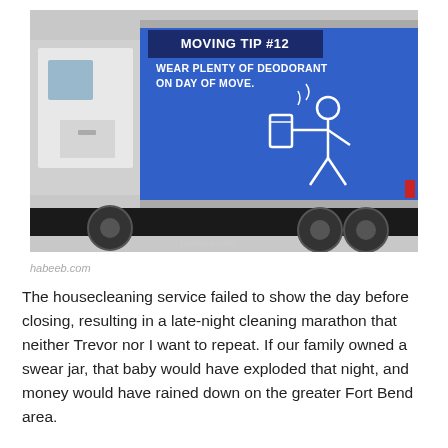[Figure (photo): Photo of a moving truck with a blue side panel reading 'MOVING TIP #12 WEAR PLENTY OF DEODORANT ON DAY OF MOVE.' with a graphic of a stick figure applying deodorant. Watermark reads Habeeb.com.]
habeeb.com
The housecleaning service failed to show the day before closing, resulting in a late-night cleaning marathon that neither Trevor nor I want to repeat. If our family owned a swear jar, that baby would have exploded that night, and money would have rained down on the greater Fort Bend area.